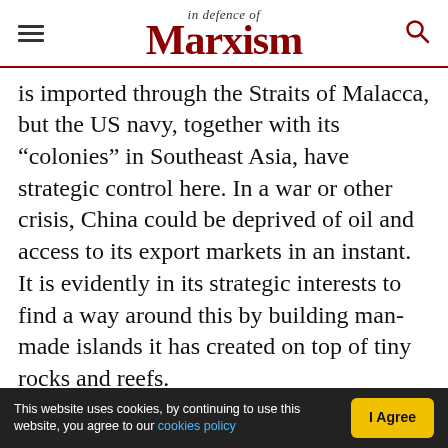In defence of Marxism
is imported through the Straits of Malacca, but the US navy, together with its “colonies” in Southeast Asia, have strategic control here. In a war or other crisis, China could be deprived of oil and access to its export markets in an instant. It is evidently in its strategic interests to find a way around this by building man-made islands it has created on top of tiny rocks and reefs.
This policy, if it is allowed to continue, would annex to China the seas surrounding all the major nations of Southeast Asia. The US Navy is the strongest in the region. But China is expanding the
This website uses cookies, by continuing to use this website, you agree to our cookies policy | I Agree